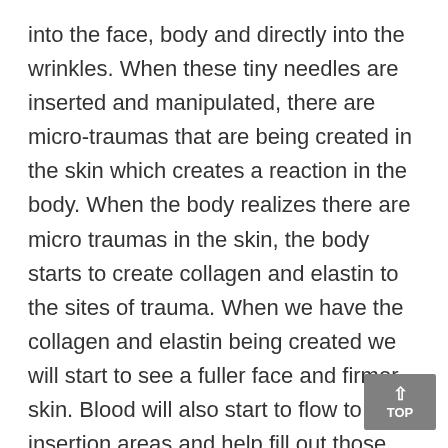into the face, body and directly into the wrinkles. When these tiny needles are inserted and manipulated, there are micro-traumas that are being created in the skin which creates a reaction in the body. When the body realizes there are micro traumas in the skin, the body starts to create collagen and elastin to the sites of trauma. When we have the collagen and elastin being created we will start to see a fuller face and firmer skin. Blood will also start to flow to the insertion areas and help fill out those unwanted wrinkles. Cosmetic acupuncture is an all natural approach to facial rejuvenation and can have a strong and long lasting result without the use of botox or